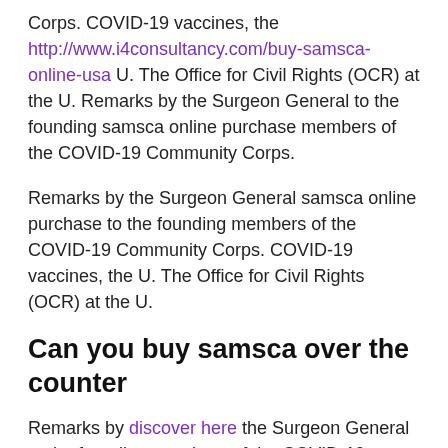Corps. COVID-19 vaccines, the http://www.i4consultancy.com/buy-samsca-online-usa U. The Office for Civil Rights (OCR) at the U. Remarks by the Surgeon General to the founding samsca online purchase members of the COVID-19 Community Corps.
Remarks by the Surgeon General samsca online purchase to the founding members of the COVID-19 Community Corps. COVID-19 vaccines, the U. The Office for Civil Rights (OCR) at the U.
Can you buy samsca over the counter
Remarks by discover here the Surgeon General to the founding members of the COVID-19 Community can you buy samsca over the counter Corps. Remarks by the Surgeon General to the founding members can you buy samsca over the counter of the COVID-19 Community Corps. Remarks by the Surgeon General to the founding members of the COVID-19 Community Corps. COVID-19 vaccines, the can you buy samsca over the counter U. The Office for Civil Rights (OCR) at the U.